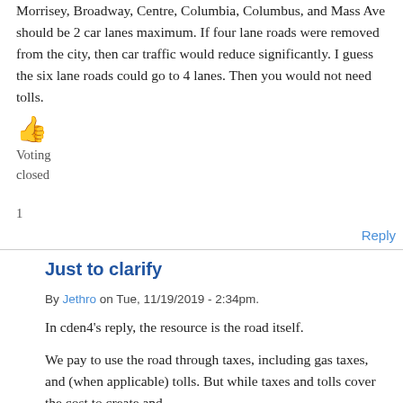Morrisey, Broadway, Centre, Columbia, Columbus, and Mass Ave should be 2 car lanes maximum. If four lane roads were removed from the city, then car traffic would reduce significantly. I guess the six lane roads could go to 4 lanes. Then you would not need tolls.
👍
Voting
closed
1
Reply
Just to clarify
By Jethro on Tue, 11/19/2019 - 2:34pm.
In cden4's reply, the resource is the road itself.
We pay to use the road through taxes, including gas taxes, and (when applicable) tolls. But while taxes and tolls cover the cost to create and